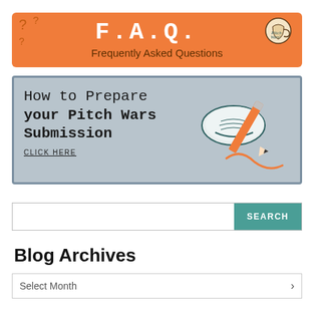[Figure (illustration): Orange FAQ banner with question marks, decorative mug illustration, large stylized F.A.Q. title text, and subtitle 'Frequently Asked Questions']
[Figure (illustration): Gray banner with serif/monospace text 'How to Prepare your Pitch Wars Submission', 'CLICK HERE' underlined, and illustrated open book with pencil drawing an orange squiggle]
[Figure (other): Search bar with white input field and teal 'SEARCH' button]
Blog Archives
[Figure (other): Dropdown selector showing 'Select Month' with chevron arrow]